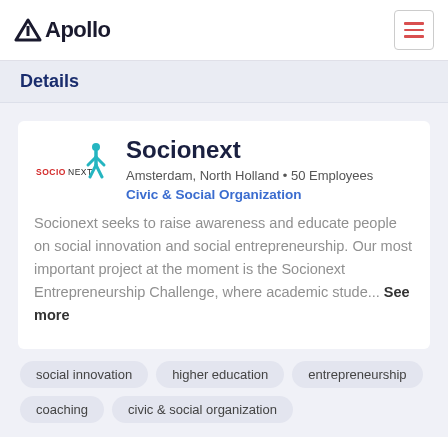Apollo
Details
[Figure (logo): Socionext company logo with teal figure and red SOCIONEXT text]
Socionext
Amsterdam, North Holland • 50 Employees
Civic & Social Organization
Socionext seeks to raise awareness and educate people on social innovation and social entrepreneurship. Our most important project at the moment is the Socionext Entrepreneurship Challenge, where academic stude... See more
social innovation
higher education
entrepreneurship
coaching
civic & social organization